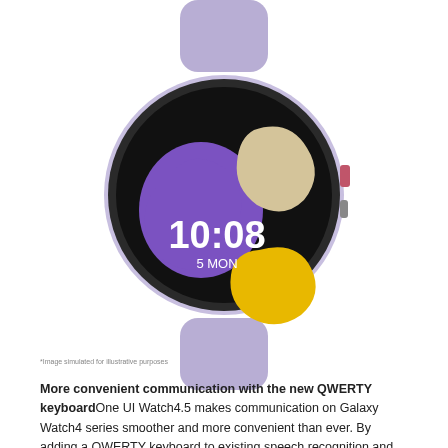[Figure (photo): Samsung Galaxy Watch5 smartwatch in lavender/purple color with black circular display showing colorful watch face with purple and yellow abstract shapes, time 10:08, and date 5 MON]
*Image simulated for illustrative purposes
More convenient communication with the new QWERTY keyboard One UI Watch4.5 makes communication on Galaxy Watch4 series smoother and more convenient than ever. By adding a QWERTY keyboard to existing speech recognition and handwriting capabilities, users have more